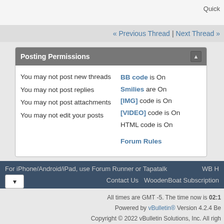Quick
« Previous Thread | Next Thread »
Posting Permissions
You may not post new threads
You may not post replies
You may not post attachments
You may not edit your posts
BB code is On
Smilies are On
[IMG] code is On
[VIDEO] code is On
HTML code is On
Forum Rules
For iPhone/Android/iPad, use Forum Runner or Tapatalk   WB H
Contact Us   WoodenBoat Subscription
All times are GMT -5. The time now is 02:1
Powered by vBulletin® Version 4.2.4 Be
Copyright © 2022 vBulletin Solutions, Inc. All righ
Copyright WoodenBoat Publications, 2020 an